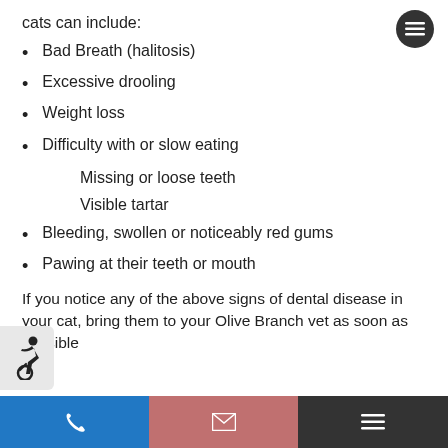cats can include:
Bad Breath (halitosis)
Excessive drooling
Weight loss
Difficulty with or slow eating
Missing or loose teeth
Visible tartar
Bleeding, swollen or noticeably red gums
Pawing at their teeth or mouth
If you notice any of the above signs of dental disease in your cat, bring them to your Olive Branch vet as soon as possible